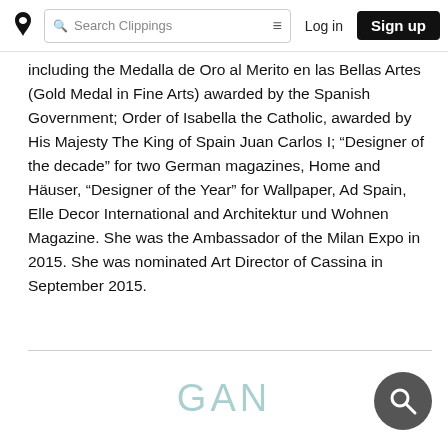Search Clippings | Log in | Sign up
including the Medalla de Oro al Merito en las Bellas Artes (Gold Medal in Fine Arts) awarded by the Spanish Government; Order of Isabella the Catholic, awarded by His Majesty The King of Spain Juan Carlos I; “Designer of the decade” for two German magazines, Home and Häuser, “Designer of the Year” for Wallpaper, Ad Spain, Elle Decor International and Architektur und Wohnen Magazine. She was the Ambassador of the Milan Expo in 2015. She was nominated Art Director of Cassina in September 2015.
[Figure (logo): GAN logo in teal/gray color at bottom center of page]
[Figure (other): Dark circular search button with magnifying glass icon, bottom right]